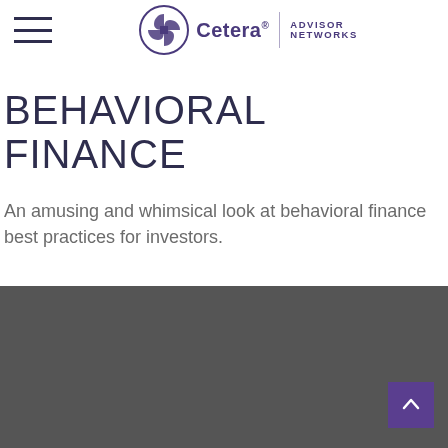Cetera Advisor Networks
BEHAVIORAL FINANCE
An amusing and whimsical look at behavioral finance best practices for investors.
[Figure (other): Dark gray footer section with a purple back-to-top arrow button in the bottom right corner]